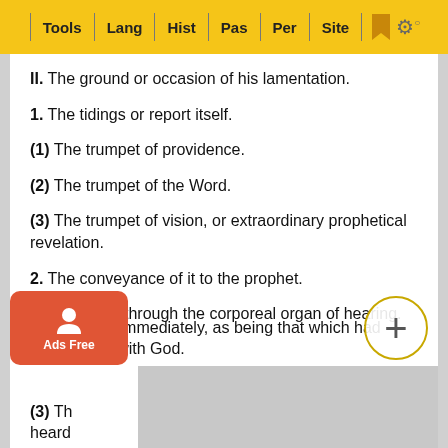Tools | Lang | Hist | Pas | Per | Site
II. The ground or occasion of his lamentation.
1. The tidings or report itself.
(1) The trumpet of providence.
(2) The trumpet of the Word.
(3) The trumpet of vision, or extraordinary prophetical revelation.
2. The conveyance of it to the prophet.
(1) The soul, through the corporeal organ of hearing.
(2) [The soul immediately, as being that which had communion with] God.
(3) Th[e...] heard[...]